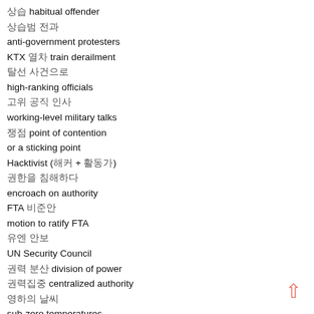상습 habitual offender
상습범 전과
anti-government protesters
KTX 열차 train derailment
탈선 사건으로
high-ranking officials
고위 공직 인사
working-level military talks
쟁점 point of contention
or a sticking point
Hacktivist (해커 + 활동가)
권한을 침해하다
encroach on authority
FTA 비준안
motion to ratify FTA
유엔 안보
UN Security Council
권력 분산 division of power
권력집중 centralized authority
영하의 날씨
sub-zero temperatures
빙판